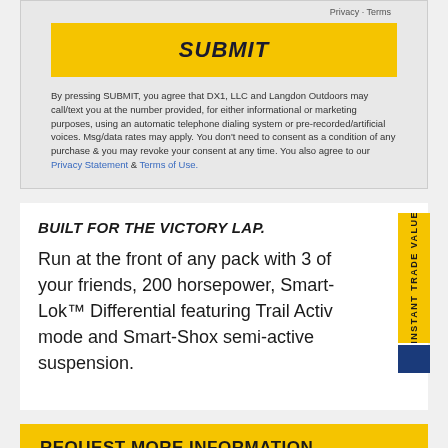Privacy · Terms
SUBMIT
By pressing SUBMIT, you agree that DX1, LLC and Langdon Outdoors may call/text you at the number provided, for either informational or marketing purposes, using an automatic telephone dialing system or pre-recorded/artificial voices. Msg/data rates may apply. You don't need to consent as a condition of any purchase & you may revoke your consent at any time. You also agree to our Privacy Statement & Terms of Use.
BUILT FOR THE VICTORY LAP.
Run at the front of any pack with 3 of your friends, 200 horsepower, Smart-Lok™ Differential featuring Trail Activ mode and Smart-Shox semi-active suspension.
INSTANT TRADE VALUE
REQUEST MORE INFORMATION